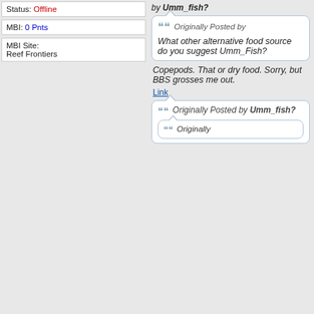Status: Offline
MBI: 0 Pnts
MBI Site:
Reef Frontiers
Originally Posted by Umm_fish?
Originally Posted by

What other alternative food source do you suggest Umm_Fish?
Copepods. That or dry food. Sorry, but BBS grosses me out.
Link
Originally Posted by Umm_fish?
Originally